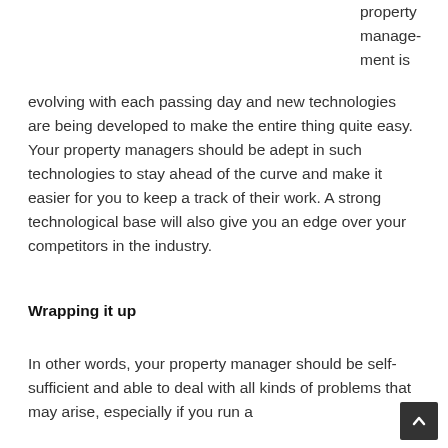property management is evolving with each passing day and new technologies are being developed to make the entire thing quite easy. Your property managers should be adept in such technologies to stay ahead of the curve and make it easier for you to keep a track of their work. A strong technological base will also give you an edge over your competitors in the industry.
Wrapping it up
In other words, your property manager should be self-sufficient and able to deal with all kinds of problems that may arise, especially if you run a